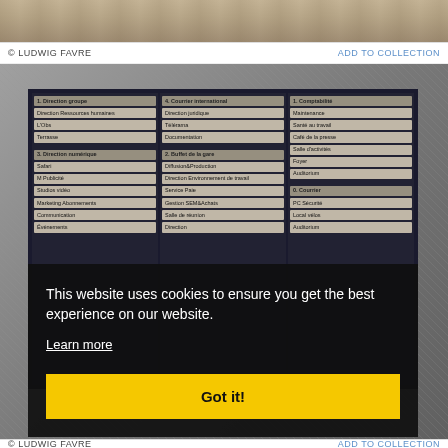[Figure (photo): Top strip of a photo showing a sandy/stone floor surface]
© LUDWIG FAVRE    ADD TO COLLECTION
[Figure (photo): Photo of a building directory sign board with three columns of labeled slots in French, partially overlaid by a cookie consent popup]
This website uses cookies to ensure you get the best experience on our website.
Learn more
Got it!
© LUDWIG FAVRE    ADD TO COLLECTION